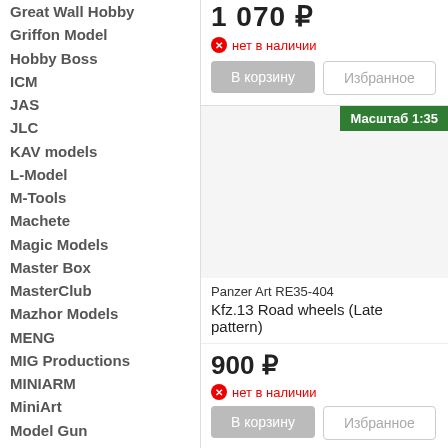Great Wall Hobby
Griffon Model
Hobby Boss
ICM
JAS
JLC
KAV models
L-Model
M-Tools
Machete
Magic Models
Master Box
MasterClub
Mazhor Models
MENG
MIG Productions
MINIARM
MiniArt
Model Gun
Model Point
Mr.Hobby
NorthStar
Panzer Art
Part
1 070 ₽
нет в наличии
В корзину
Избранное
Масштаб 1:35
Panzer Art RE35-404
Kfz.13 Road wheels (Late pattern)
900 ₽
нет в наличии
В корзину
Избранное